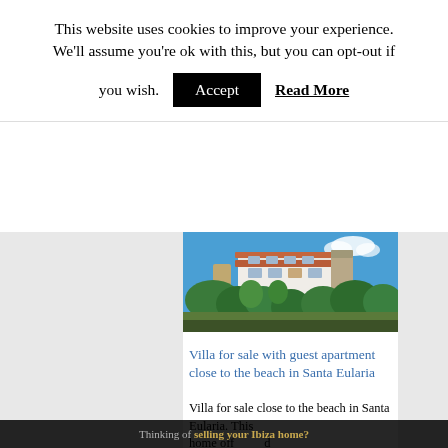This website uses cookies to improve your experience. We'll assume you're ok with this, but you can opt-out if you wish. Accept Read More
[Figure (photo): Exterior photo of a villa with white walls, terracotta roof, stone tower, surrounded by tropical trees and plants under a blue sky with white clouds]
Villa for sale with guest apartment close to the beach in Santa Eularia
Villa for sale close to the beach in Santa Eularia. This home off... d modatio... e guest a... t
Thinking of selling your Ibiza home?